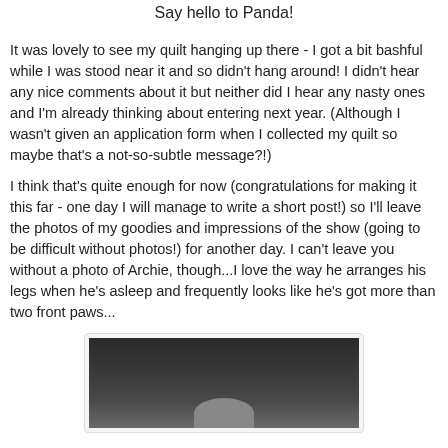Say hello to Panda!
It was lovely to see my quilt hanging up there - I got a bit bashful while I was stood near it and so didn't hang around! I didn't hear any nice comments about it but neither did I hear any nasty ones and I'm already thinking about entering next year.  (Although I wasn't given an application form when I collected my quilt so maybe that's a not-so-subtle message?!)
I think that's quite enough for now (congratulations for making it this far - one day I will manage to write a short post!) so I'll leave the photos of my goodies and impressions of the show (going to be difficult without photos!) for another day.  I can't leave you without a photo of Archie, though...I love the way he arranges his legs when he's asleep and frequently looks like he's got more than two front paws...
[Figure (photo): A dark photograph of a cat (Archie) asleep, partially visible at the bottom of the image frame.]